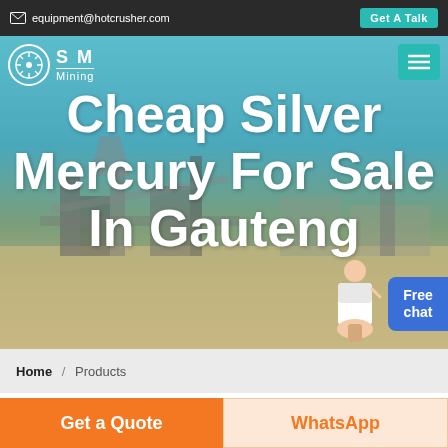equipment@hotcrusher.com  |  Get A Talk
[Figure (screenshot): Mining/crusher industrial facility hero image with large overlay text 'Cheap Silver Mercury For Sale In Gauteng' and logo, menu button, virtual assistant, and Free chat widget]
Home / Products
Different Machines To Meet All
Get a Quote  |  WhatsApp